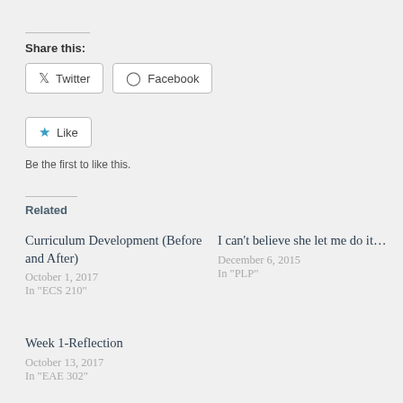Share this:
Twitter  Facebook
Like
Be the first to like this.
Related
Curriculum Development (Before and After)
October 1, 2017
In "ECS 210"
I can't believe she let me do it…
December 6, 2015
In "PLP"
Week 1-Reflection
October 13, 2017
In "EAE 302"